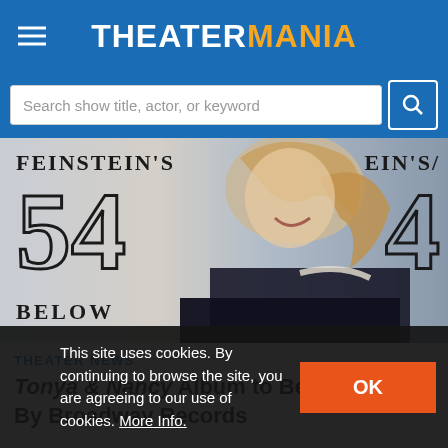THEATERMANIA
Search show title, actor, or keyword
[Figure (photo): Woman laughing in front of Feinstein's 54 Below signage backdrop, wearing black dress with pearl embellishments on shoulder.]
THEATER NEWS
Tonya & Nancy Album to Be Released By Broadway Records
This site uses cookies. By continuing to browse the site, you are agreeing to our use of cookies. More Info.